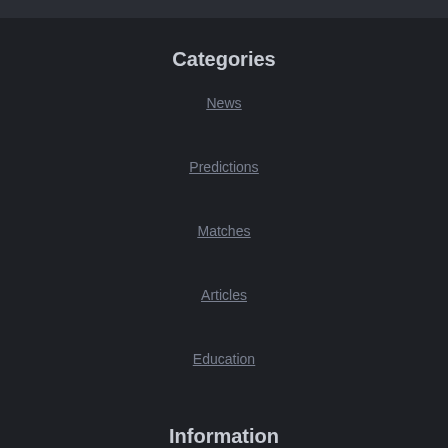Categories
News
Predictions
Matches
Articles
Education
Information
About us
Rules